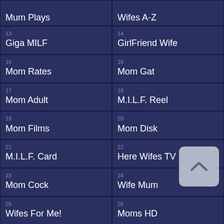Mum Plays
Wifes A-Z
13 Giga MILF
14 GirlFriend Wife
15 Mom Rates
16 Mom Gat
17 Mom Adult
18 M.I.L.F. Reel
19 Mom Films
20 Mom Disk
21 M.I.L.F. Card
22 Here Wifes TV
23 Mom Cock
24 Wife Mum
25 Wifes For Me!
26 Moms HD
27 Wife Pub
28 M.I.L.F. Mama